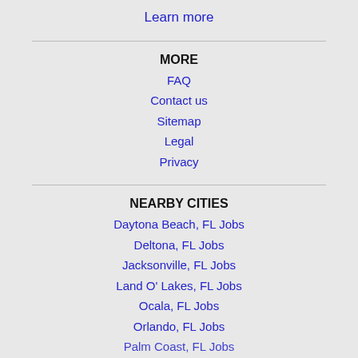Learn more
MORE
FAQ
Contact us
Sitemap
Legal
Privacy
NEARBY CITIES
Daytona Beach, FL Jobs
Deltona, FL Jobs
Jacksonville, FL Jobs
Land O' Lakes, FL Jobs
Ocala, FL Jobs
Orlando, FL Jobs
Palm Coast, FL Jobs